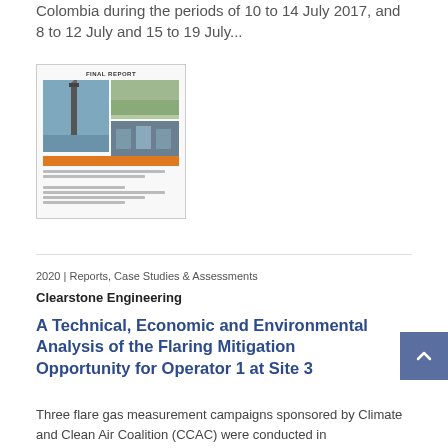Colombia during the periods of 10 to 14 July 2017, and 8 to 12 July and 15 to 19 July…
[Figure (photo): Thumbnail of a Final Report document cover showing images of a flare tower and workers in protective gear, with an orange banner and small text lines below.]
2020 | Reports, Case Studies & Assessments
Clearstone Engineering
A Technical, Economic and Environmental Analysis of the Flaring Mitigation Opportunity for Operator 1 at Site 3
Three flare gas measurement campaigns sponsored by Climate and Clean Air Coalition (CCAC) were conducted in